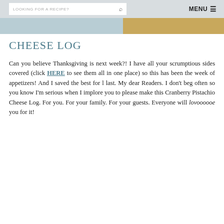LOOKING FOR A RECIPE?   MENU ≡
[Figure (photo): Hero image strip showing partial food photo with golden/amber tones on right side and light blue-grey on left]
CHEESE LOG
Can you believe Thanksgiving is next week?!  I have all your scrumptious sides covered (click HERE to see them all in one place) so this has been the week of appetizers!  And I saved the best for l last.  My dear Readers.  I don't beg often so you know I'm serious when I implore you to please make this Cranberry Pistachio Cheese Log.  For you.  For your family.  For your guests.  Everyone will lovoooooe you for it!